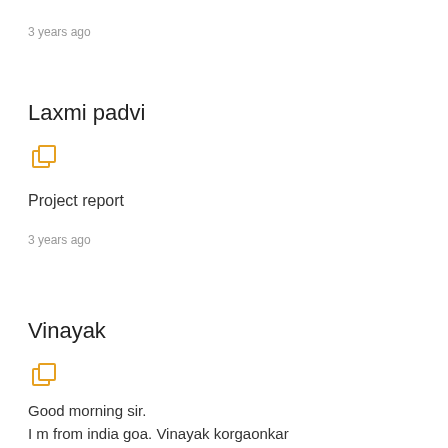3 years ago
Laxmi padvi
[Figure (other): Copy/share icon in orange outline style]
Project report
3 years ago
Vinayak
[Figure (other): Copy/share icon in orange outline style]
Good morning sir.
I m from india goa. Vinayak korgaonkar
I want to start india village desi chicken farm business. Give me